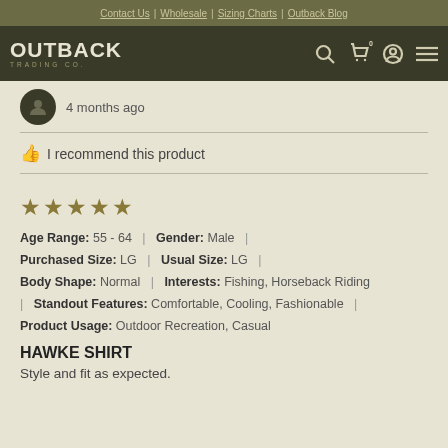Contact Us | Wholesale | Sizing Charts | Outback Blog
[Figure (logo): Outback Trading Co. logo with navigation icons (search, cart, profile, menu)]
4 months ago
👍 I recommend this product
★★★★★ (5 stars)
Age Range: 55 - 64 | Gender: Male | Purchased Size: LG | Usual Size: LG | Body Shape: Normal | Interests: Fishing, Horseback Riding | Standout Features: Comfortable, Cooling, Fashionable | Product Usage: Outdoor Recreation, Casual
HAWKE SHIRT
Style and fit as expected.